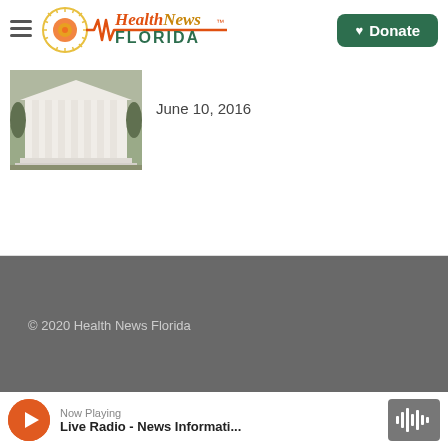Health News Florida | Donate
[Figure (photo): Photo of a white government building with columns and trees]
June 10, 2016
© 2020 Health News Florida
Health News Florida Partners
Governance
Now Playing
Live Radio - News Informati...